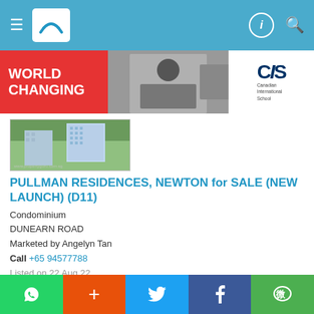Navigation bar with menu, logo, info icon, search icon
[Figure (illustration): Advertisement banner for Canadian International School with red background, text WORLD CHANGING, photo of student at whiteboard, and CIS logo]
[Figure (photo): Exterior photo of Pullman Residences Newton building with greenery and city skyline]
PULLMAN RESIDENCES, NEWTON for SALE (NEW LAUNCH) (D11)
Condominium
DUNEARN ROAD
Marketed by Angelyn Tan
Call +65 94577788
Listed on 22 Aug 22
Property Code: 6389943
S$ 3,933,000
S$ 3,070.26 psf (built-in)
1,281 sqft / 119.01 sqm (built-
WhatsApp + Twitter Facebook WeChat action buttons